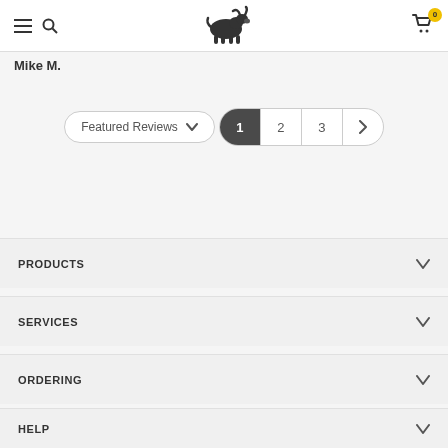Navigation header with hamburger menu, bull logo, and shopping cart (0 items)
Mike M.
Featured Reviews  1  2  3  >
PRODUCTS
SERVICES
ORDERING
HELP